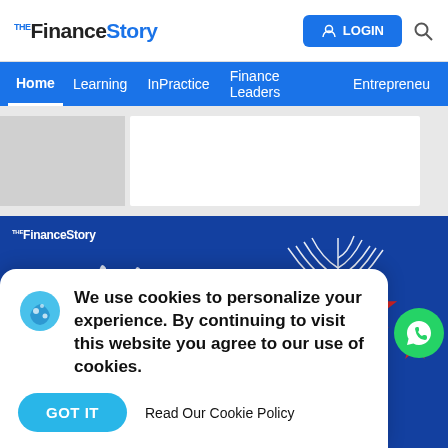THE FinanceStory | LOGIN | Search
Home | Learning | InPractice | Finance Leaders | Entrepreneur
[Figure (screenshot): TheFinanceStory website screenshot showing navigation header with Home, Learning, InPractice, Finance Leaders, Entrepreneur links, a hero banner with a person's face on blue background with wave shapes and stars, and a cookie consent popup at the bottom reading 'We use cookies to personalize your experience. By continuing to visit this website you agree to our use of cookies.' with GOT IT button and Read Our Cookie Policy link.]
We use cookies to personalize your experience. By continuing to visit this website you agree to our use of cookies.
GOT IT   Read Our Cookie Policy